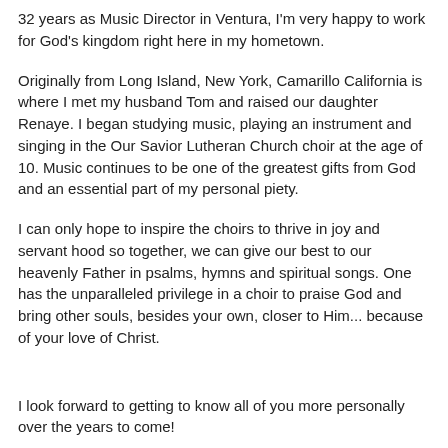32 years as Music Director in Ventura, I'm very happy to work for God's kingdom right here in my hometown.
Originally from Long Island, New York, Camarillo California is where I met my husband Tom and raised our daughter Renaye. I began studying music, playing an instrument and singing in the Our Savior Lutheran Church choir at the age of 10. Music continues to be one of the greatest gifts from God and an essential part of my personal piety.
I can only hope to inspire the choirs to thrive in joy and servant hood so together, we can give our best to our heavenly Father in psalms, hymns and spiritual songs. One has the unparalleled privilege in a choir to praise God and bring other souls, besides your own, closer to Him... because of your love of Christ.
I look forward to getting to know all of you more personally over the years to come!